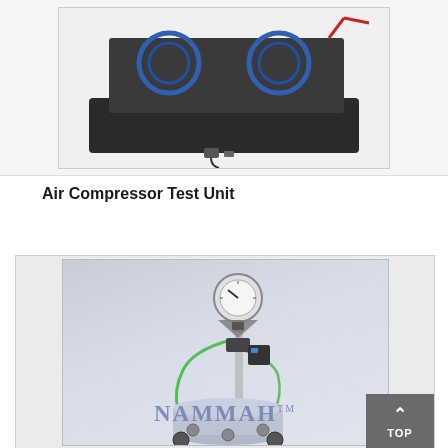[Figure (photo): Top portion of a product photo showing an electronic/electrical test device on a dark base, with blue circular elements visible, on white background]
Air Compressor Test Unit
[Figure (photo): Air Compressor Test Unit photo showing a vertical compressor apparatus with pressure gauge at top, tubes, and a cylindrical tank at bottom, with NAMMAH watermark and TM mark, bottom-right shows a gray TOP navigation button]